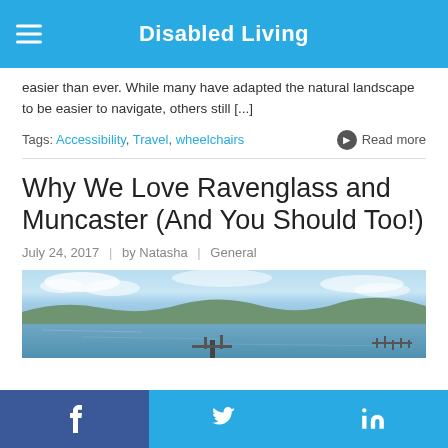Disabled Living
easier than ever. While many have adapted the natural landscape to be easier to navigate, others still [...]
Tags: Accessibility, Travel, wheelchairs     ❯ Read more
Why We Love Ravenglass and Muncaster (And You Should Too!)
July 24, 2017  |  by Natasha  |  General
[Figure (photo): A wide landscape photo of a lake or estuary with a jetty/dock in the foreground, calm water reflecting the sky, trees and hills in the background, and a partly cloudy sky above.]
f   Twitter   in